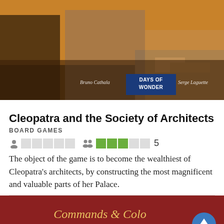[Figure (illustration): Ancient Egypt themed board game box art with soldiers and workers carrying materials, with Days of Wonder publisher logo badge at bottom center, and author names Bruno Cathala and Serge Laget shown]
Cleopatra and the Society of Architects
BOARD GAMES
The object of the game is to become the wealthiest of Cleopatra's architects, by constructing the most magnificent and valuable parts of her Palace.
[Figure (illustration): Bottom portion of Commands & Colors: Ancients board game box art on dark red background with Commands & Colors in italic gold text and ANCIENTS in large white bold text]